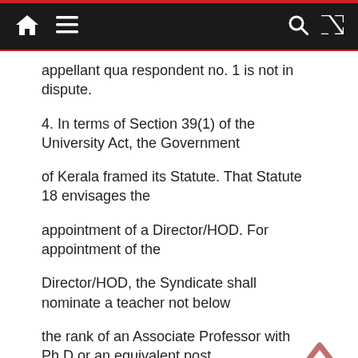Navigation bar with home, menu, search, and shuffle icons
appellant qua respondent no. 1 is not in dispute.
4. In terms of Section 39(1) of the University Act, the Government
of Kerala framed its Statute. That Statute 18 envisages the
appointment of a Director/HOD. For appointment of the
Director/HOD, the Syndicate shall nominate a teacher not below
the rank of an Associate Professor with Ph.D or an equivalent post,
as prescribed by UGC Regulations or Regulations